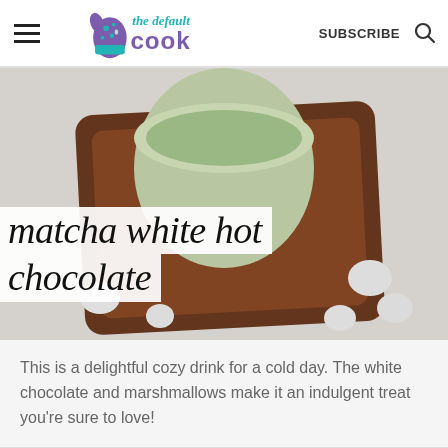the default cook — SUBSCRIBE
[Figure (photo): Close-up photo of a green matcha white hot chocolate in a light green mug on a wooden tray, surrounded by white marshmallows on a light background. Title text overlay reads 'matcha white hot chocolate' in large italic font on white background strips.]
matcha white hot chocolate
This is a delightful cozy drink for a cold day. The white chocolate and marshmallows make it an indulgent treat you're sure to love!